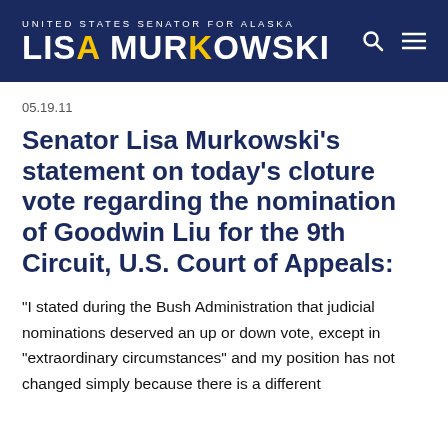UNITED STATES SENATOR FOR ALASKA — LISA MURKOWSKI
05.19.11
Senator Lisa Murkowski's statement on today's cloture vote regarding the nomination of Goodwin Liu for the 9th Circuit, U.S. Court of Appeals:
"I stated during the Bush Administration that judicial nominations deserved an up or down vote, except in "extraordinary circumstances" and my position has not changed simply because there is a different